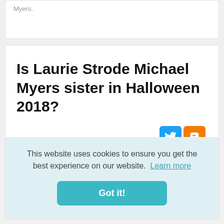Myers.
Is Laurie Strode Michael Myers sister in Halloween 2018?
As fans of the series know, it was not revealed until Halloween II that Laurie Strode is Michael Myers sister in the...
This website uses cookies to ensure you get the best experience on our website. Learn more
Got it!